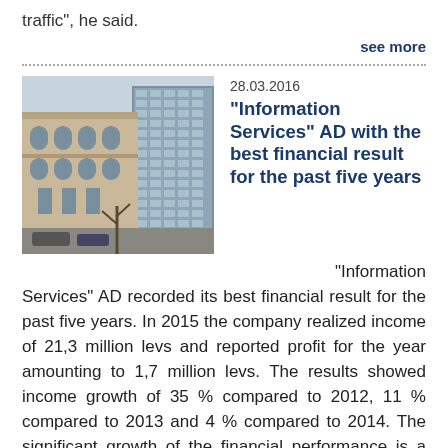traffic", he said.
see more
[Figure (photo): Photograph of a historic building facade alongside a modern high-rise, street view with cars parked in front.]
28.03.2016
"Information Services" AD with the best financial result for the past five years
"Information Services" AD recorded its best financial result for the past five years. In 2015 the company realized income of 21,3 million levs and reported profit for the year amounting to 1,7 million levs. The results showed income growth of 35 % compared to 2012, 11 % compared to 2013 and 4 % compared to 2014. The significant growth of the financial performance is a result of the attraction of new customers and...